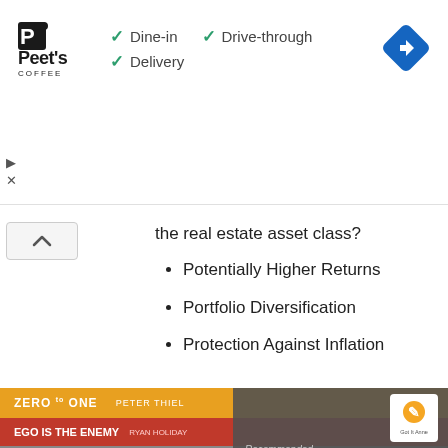[Figure (screenshot): Peet's Coffee advertisement banner showing Dine-in, Drive-through, Delivery options with checkmarks and a blue navigation diamond icon]
the real estate asset class?
Potentially Higher Returns
Portfolio Diversification
Protection Against Inflation
[Figure (photo): Stack of investment and business books including Zero to One by Peter Thiel, Ego is the Enemy, The Obstacle is the Way, Exponential Organizations, Value Proposition Design, The Startup Owner's Manual, with overlay text '10 Best Investment Books of All Time' and Got It Anne logo badge]